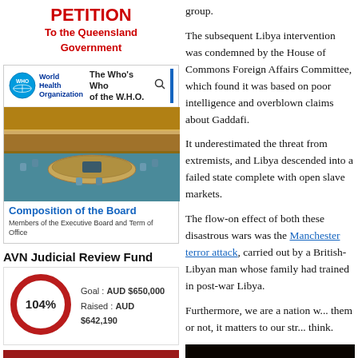PETITION
To the Queensland Government
[Figure (screenshot): WHO website screenshot showing 'The Who's Who of the W.H.O.' with a photo of a WHO assembly hall and 'Governance' badge, with Composition of the Board section]
Composition of the Board
Members of the Executive Board and Term of Office
AVN Judicial Review Fund
[Figure (donut-chart): Donut chart showing 104% with Goal: AUD $650,000 and Raised: AUD $642,190]
Goal : AUD $650,000
Raised : AUD $642,190
GIVE NOW
The Australian Vaccination-risks
group.
The subsequent Libya intervention was condemned by the House of Commons Foreign Affairs Committee, which found it was based on poor intelligence and overblown claims about Gaddafi.
It underestimated the threat from extremists, and Libya descended into a failed state complete with open slave markets.
The flow-on effect of both these disastrous wars was the Manchester terror attack, carried out by a British-Libyan man whose family had trained in post-war Libya.
Furthermore, we are a nation w... them or not, it matters to our str... think.
[Figure (photo): Dark photo, mostly black with reddish tones at bottom]